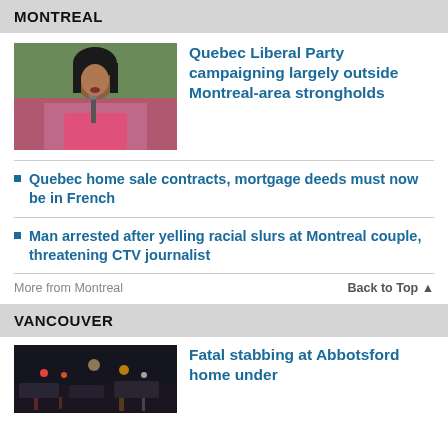MONTREAL
[Figure (photo): Woman in pink blazer speaking at a microphone, gesturing with both hands]
Quebec Liberal Party campaigning largely outside Montreal-area strongholds
Quebec home sale contracts, mortgage deeds must now be in French
Man arrested after yelling racial slurs at Montreal couple, threatening CTV journalist
More from Montreal
Back to Top ▲
VANCOUVER
[Figure (photo): Night scene of a street with emergency vehicles and lights]
Fatal stabbing at Abbotsford home under